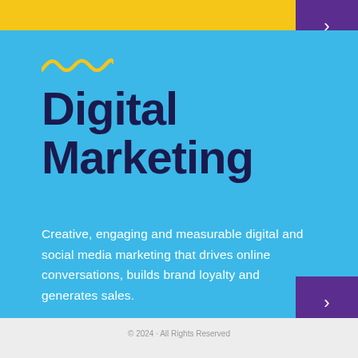[Figure (illustration): Yellow top bar with purple corner block containing a white arrow pointing right]
Digital Marketing
Creative, engaging and measurable digital and social media marketing that drives online conversations, builds brand loyalty and generates sales.
[Figure (illustration): Purple square button with white right-pointing arrow]
© 2024 · All Rights Reserved